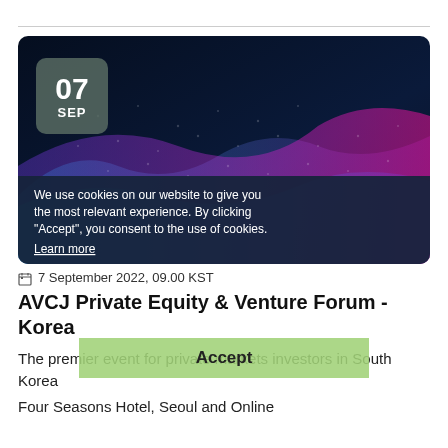[Figure (illustration): Event banner with abstract digital wave pattern in teal, purple, and pink on dark background. A date badge showing '07 SEP' is overlaid on the top-left. A cookie consent overlay covers the lower portion of the banner reading: 'We use cookies on our website to give you the most relevant experience. By clicking "Accept", you consent to the use of cookies. Learn more']
7 September 2022, 09.00 KST
AVCJ Private Equity & Venture Forum - Korea
The premier event for private markets investors in South Korea
Four Seasons Hotel, Seoul and Online